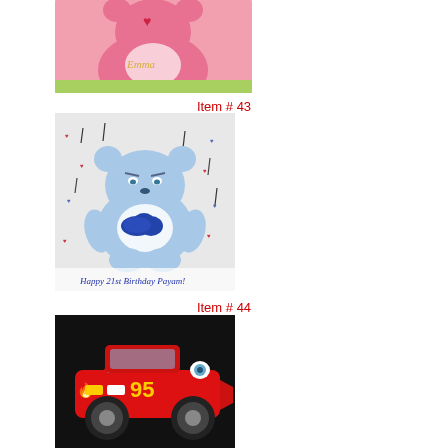[Figure (photo): Pink Care Bear shaped cake with a red heart, decorated with the name 'Emma' in yellow script, on a square base with colorful border decorations.]
Item # 43
[Figure (photo): Grumpy Bear Care Bear cake on a rectangular sheet, blue bear with a cloud belly badge, with text 'Happy 21st Birthday Payam!' written in cursive at the bottom, on a sparkly silver background with hearts and raindrops.]
Item # 44
[Figure (photo): Lightning McQueen race car shaped cake, red car with the number 95 and flame decorations, on a black background.]